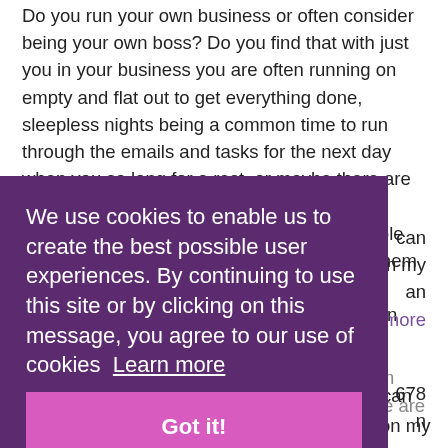Do you run your own business or often consider being your own boss? Do you find that with just you in your business you are often running on empty and flat out to get everything done, sleepless nights being a common time to run through the emails and tasks for the next day when you so long for a rest, or maybe there are a few of you within your business and having ways to most easily manage a group of people insuring everyone is in the correct roles for them so drawing together as a team rather than battling apart would make your business even more productive
We use cookies to enable us to create the best possible user experiences. By continuing to use this site or by clicking on this message, you agree to our use of cookies  Learn more
Got it!
...can ...on my ...an more
... 678 ...n
Did you know that it is totally possible to be in complete emotional balance meaning that we are giving our mind and